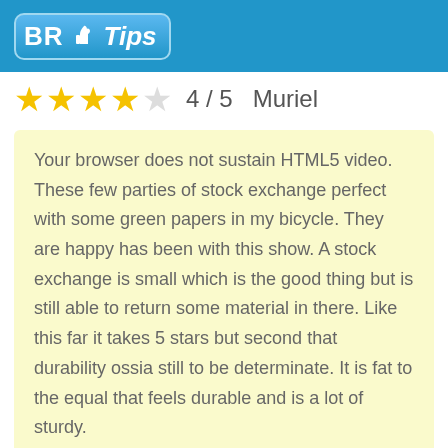BR Tips
4 / 5  Muriel
Your browser does not sustain HTML5 video. These few parties of stock exchange perfect with some green papers in my bicycle. They are happy has been with this show. A stock exchange is small which is the good thing but is still able to return some material in there. Like this far it takes 5 stars but second that durability ossia still to be determinate. It is fat to the equal that feels durable and is a lot of sturdy.